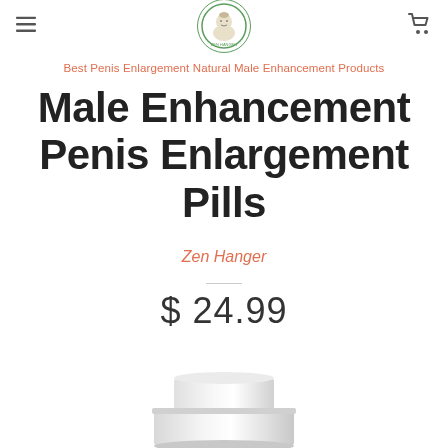Zen Hanger (logo, menu icon, cart icon)
Best Penis Enlargement Natural Male Enhancement Products
Male Enhancement Penis Enlargement Pills
Zen Hanger
$ 24.99
[Figure (photo): White cylindrical product (pill capsule or container) shown at the bottom of the page]